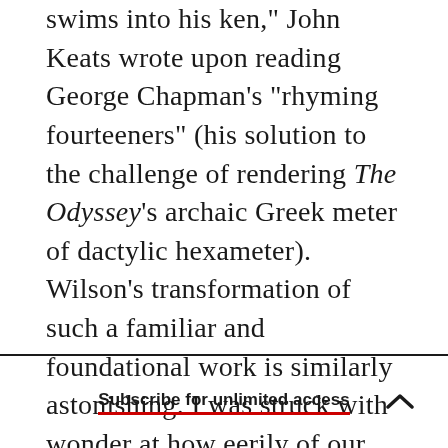swims into his ken," John Keats wrote upon reading George Chapman's "rhyming fourteeners" (his solution to the challenge of rendering The Odyssey's archaic Greek meter of dactylic hexameter). Wilson's transformation of such a familiar and foundational work is similarly astonishing. I was struck with wonder at how eerily of our time it is, this tale that emerged nearly 3,000 years ago.
Subscribe for unlimited access